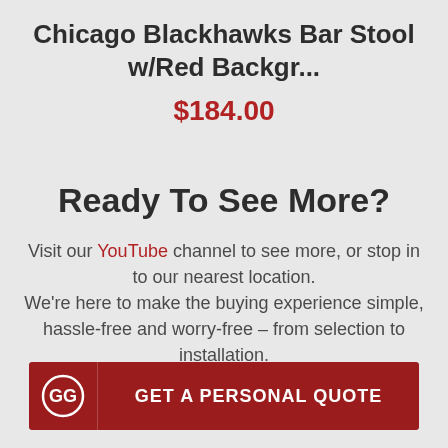Chicago Blackhawks Bar Stool w/Red Backgr...
$184.00
Ready To See More?
Visit our YouTube channel to see more, or stop in to our nearest location. We're here to make the buying experience simple, hassle-free and worry-free – from selection to installation.
GET A PERSONAL QUOTE